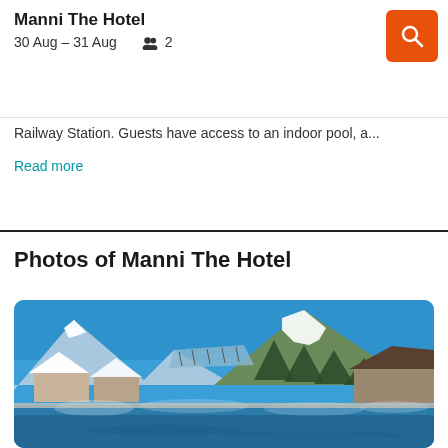Manni The Hotel
30 Aug – 31 Aug  2
Railway Station. Guests have access to an indoor pool, a...
Read more
Photos of Manni The Hotel
[Figure (photo): Outdoor heated pool with steam rising, snow-covered Alpine mountains and chalet rooftops in the background under a bright blue sky.]